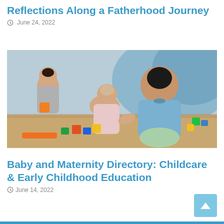Reflections Along a Fatherhood Journey
June 24, 2022
[Figure (photo): Three toddlers sitting on the floor playing with colorful building blocks. One child in a blue polo shirt is prominently featured in the foreground, with two other babies visible behind playing with orange and multicolored blocks.]
Baby and Maternity Directory: Childcare & Early Childhood Education
June 14, 2022